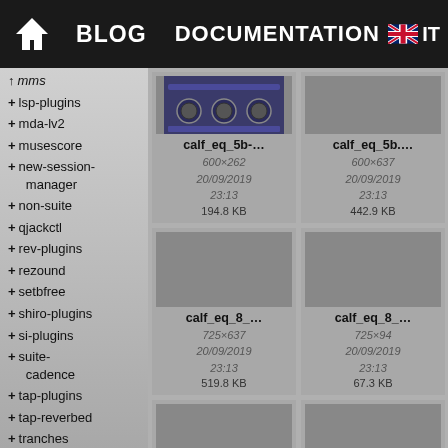BLOG   DOCUMENTATION   IT
+ lsp-plugins
+ mda-lv2
+ musescore
+ new-session-manager
+ non-suite
+ qjackctl
+ rev-plugins
+ rezound
+ setbfree
+ shiro-plugins
+ si-plugins
+ suite-cadence
+ tap-plugins
+ tap-reverbed
+ tranches
+ whysynth
+ x42-plugins
+ zam-plugins
+ manuel
[Figure (screenshot): calf_eq_5b- thumbnail, 600x262, 20/09/2019 23:13, 194.8 KB]
[Figure (screenshot): calf_eq_5b.... thumbnail, 600x637, 20/09/2019 23:13, 442.9 KB]
[Figure (screenshot): calf_eq_8_... thumbnail, 725x637, 20/09/2019 23:13, 519.8 KB]
[Figure (screenshot): calf_eq_8_... thumbnail, 725x94, 20/09/2019 23:13, 67.3 KB]
[Figure (screenshot): bottom-left thumbnail placeholder]
[Figure (screenshot): bottom-right thumbnail placeholder]